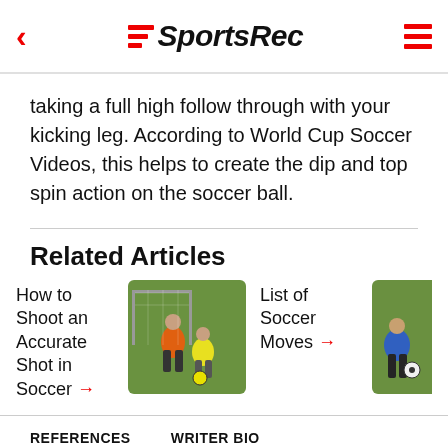SportsRec
taking a full high follow through with your kicking leg. According to World Cup Soccer Videos, this helps to create the dip and top spin action on the soccer ball.
Related Articles
How to Shoot an Accurate Shot in Soccer →
[Figure (photo): Soccer player in orange shirt shooting at a goal, with another player in yellow crouching on grass]
List of Soccer Moves →
[Figure (photo): Soccer player in blue shirt with a ball on grass]
REFERENCES   WRITER BIO